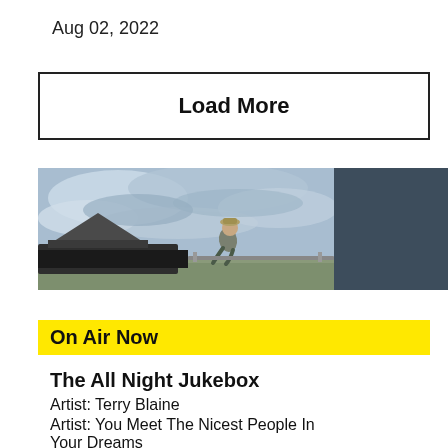Aug 02, 2022
Load More
[Figure (photo): Person sitting on top of a vehicle with a rooftop tent, overlooking a flat landscape under a cloudy sky. Right portion of banner is a dark blue-grey solid color panel.]
On Air Now
The All Night Jukebox
Artist: Terry Blaine
Artist: You Meet The Nicest People In Your Dreams